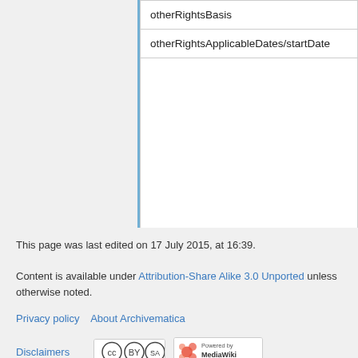| otherRightsBasis |
| otherRightsApplicableDates/startDate |
|  |
| otherRightsApplicableDates/endDate |
| otherRightsNote |
This page was last edited on 17 July 2015, at 16:39.
Content is available under Attribution-Share Alike 3.0 Unported unless otherwise noted.
Privacy policy   About Archivematica
Disclaimers